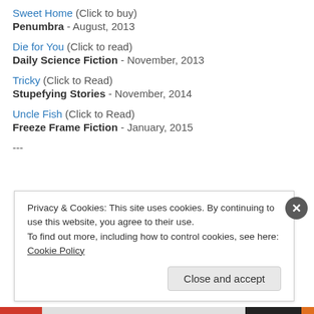Sweet Home (Click to buy)
Penumbra - August, 2013
Die for You (Click to read)
Daily Science Fiction - November, 2013
Tricky (Click to Read)
Stupefying Stories - November, 2014
Uncle Fish (Click to Read)
Freeze Frame Fiction - January, 2015
---
Privacy & Cookies: This site uses cookies. By continuing to use this website, you agree to their use.
To find out more, including how to control cookies, see here: Cookie Policy